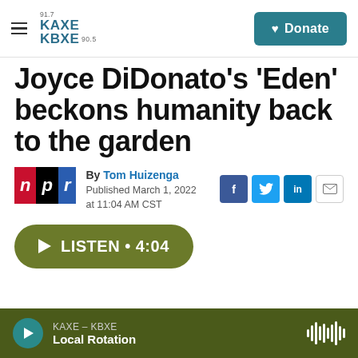KAXE 91.7 / KBXE 90.5 — Donate
Joyce DiDonato's 'Eden' beckons humanity back to the garden
By Tom Huizenga
Published March 1, 2022 at 11:04 AM CST
LISTEN • 4:04
KAXE – KBXE
Local Rotation